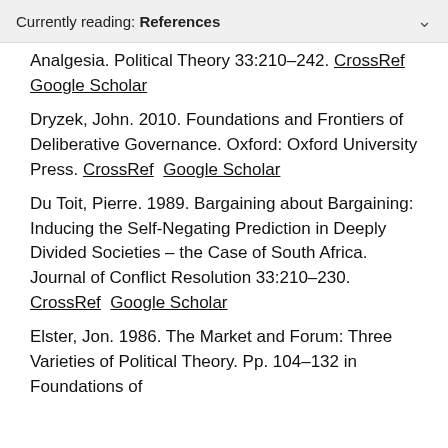Currently reading: References
Analgesia. Political Theory 33:210–242. CrossRef  Google Scholar
Dryzek, John. 2010. Foundations and Frontiers of Deliberative Governance. Oxford: Oxford University Press. CrossRef  Google Scholar
Du Toit, Pierre. 1989. Bargaining about Bargaining: Inducing the Self-Negating Prediction in Deeply Divided Societies – the Case of South Africa. Journal of Conflict Resolution 33:210–230. CrossRef  Google Scholar
Elster, Jon. 1986. The Market and Forum: Three Varieties of Political Theory. Pp. 104–132 in Foundations of...